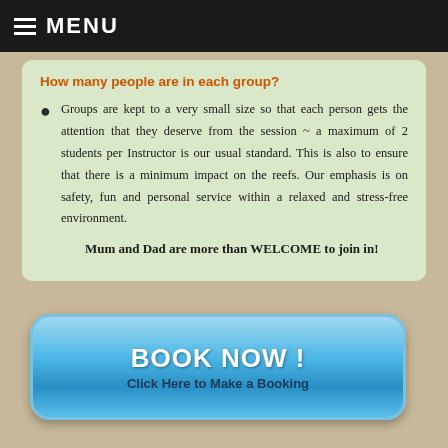MENU
How many people are in each group?
Groups are kept to a very small size so that each person gets the attention that they deserve from the session ~ a maximum of 2 students per Instructor is our usual standard. This is also to ensure that there is a minimum impact on the reefs. Our emphasis is on safety, fun and personal service within a relaxed and stress-free environment.

Mum and Dad are more than WELCOME to join in!
BOOK NOW ! Click Here to Make a Booking